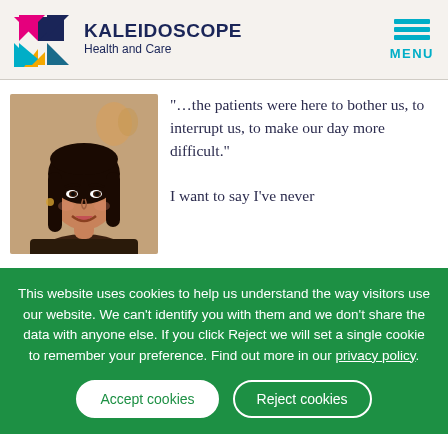[Figure (logo): Kaleidoscope Health and Care logo with colorful K lettermark and menu icon]
[Figure (photo): Portrait photo of a smiling woman with dark hair]
“…the patients were here to bother us, to interrupt us, to make our day more difficult.” I want to say I’ve never
This website uses cookies to help us understand the way visitors use our website. We can't identify you with them and we don't share the data with anyone else. If you click Reject we will set a single cookie to remember your preference. Find out more in our privacy policy.
Accept cookies
Reject cookies